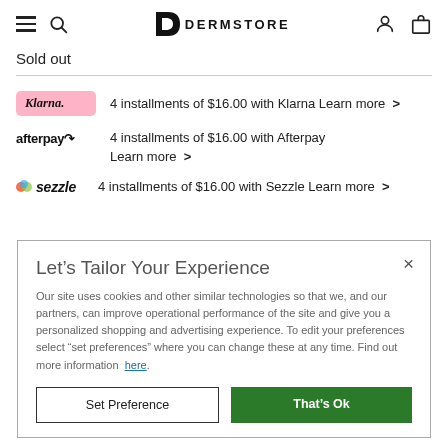DERMSTORE
Sold out
4 installments of $16.00 with Klarna Learn more >
4 installments of $16.00 with Afterpay Learn more >
4 installments of $16.00 with Sezzle Learn more >
Let’s Tailor Your Experience
Our site uses cookies and other similar technologies so that we, and our partners, can improve operational performance of the site and give you a personalized shopping and advertising experience. To edit your preferences select “set preferences” where you can change these at any time. Find out more information here.
Set Preference
That’s Ok